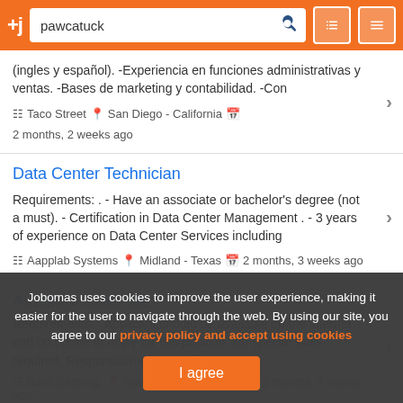+j pawcatuck [search] [filter] [menu]
(ingles y español). -Experiencia en funciones administrativas y ventas. -Bases de marketing y contabilidad. -Con
Taco Street  San Diego - California  2 months, 2 weeks ago
Data Center Technician
Requirements: . - Have an associate or bachelor's degree (not a must). - Certification in Data Center Management . - 3 years of experience on Data Center Services including
Aapplab Systems  Midland - Texas  2 months, 3 weeks ago
Assistant Sales Ma...
Requirements: . Applicant should be available on the internet and on phone to apply for this position. No special skills required. Responsibilities: ... ng for a
Baco Clothing  San Diego - California  2 months, 3 weeks ago
Jobomas uses cookies to improve the user experience, making it easier for the user to navigate through the web. By using our site, you agree to our privacy policy and accept using cookies
I agree